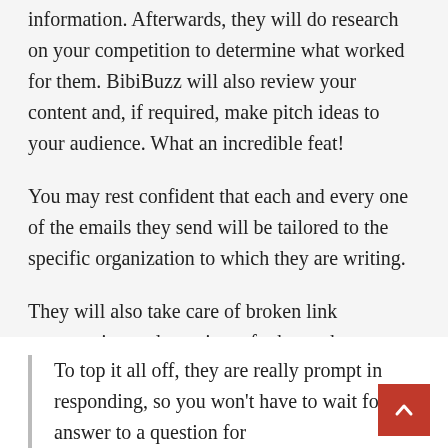information. Afterwards, they will do research on your competition to determine what worked for them. BibiBuzz will also review your content and, if required, make pitch ideas to your audience. What an incredible feat!
You may rest confident that each and every one of the emails they send will be tailored to the specific organization to which they are writing.
They will also take care of broken link construction and a variety of other tasks.
To top it all off, they are really prompt in responding, so you won't have to wait for an answer to a question for